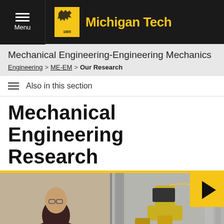Menu | Michigan Tech
Mechanical Engineering-Engineering Mechanics
Engineering > ME-EM > Our Research
Also in this section
Mechanical Engineering Research
[Figure (photo): Video thumbnail showing a student working with mechanical equipment on the left and a yellow industrial robot arm on the right, with a yellow play button overlay in the top-right corner and a yellow up-arrow button in the bottom-right corner.]